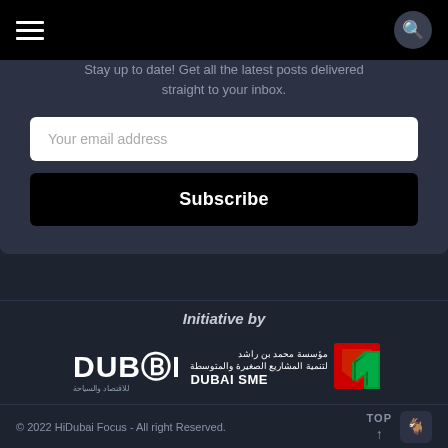HiDubai Focus - navigation bar with hamburger menu and search button
Stay up to date! Get all the latest posts delivered straight to your inbox.
Your email address
Subscribe
Initiative by
[Figure (logo): Dubai Economy and Tourism logo with stylized text]
[Figure (logo): Dubai SME logo with Arabic text and red/green arrow icon]
© 2022 HiDubai Focus - All right Reserved.